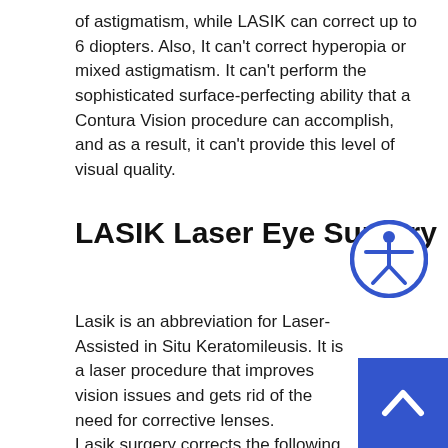of astigmatism, while LASIK can correct up to 6 diopters. Also, It can't correct hyperopia or mixed astigmatism. It can't perform the sophisticated surface-perfecting ability that a Contura Vision procedure can accomplish, and as a result, it can't provide this level of visual quality.
LASIK Laser Eye Surgery
[Figure (illustration): Accessibility icon: a circle with blue border containing a white stick figure with outstretched arms, standard wheelchair accessibility symbol style]
Lasik is an abbreviation for Laser-Assisted in Situ Keratomileusis. It is a laser procedure that improves vision issues and gets rid of the need for corrective lenses.
Lasik surgery corrects the following refractive errors:
[Figure (illustration): Blue square scroll-to-top button with a white upward chevron arrow, positioned in the bottom-right corner]